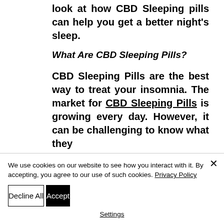look at how CBD Sleeping pills can help you get a better night's sleep.
What Are CBD Sleeping Pills?
CBD Sleeping Pills are the best way to treat your insomnia. The market for CBD Sleeping Pills is growing every day. However, it can be challenging to know what they
We use cookies on our website to see how you interact with it. By accepting, you agree to our use of such cookies. Privacy Policy
Decline All
Accept
Settings